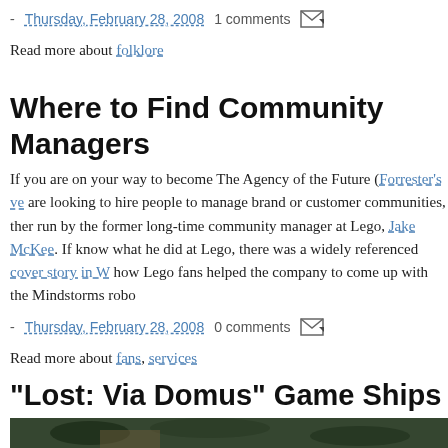- Thursday, February 28, 2008   1 comments   [icon]
Read more about folklore
Where to Find Community Managers
If you are on your way to become The Agency of the Future (Forrester's ve... are looking to hire people to manage brand or customer communities, ther... run by the former long-time community manager at Lego, Jake McKee. If know what he did at Lego, there was a widely referenced cover story in W... how Lego fans helped the company to come up with the Mindstorms robo...
- Thursday, February 28, 2008   0 comments   [icon]
Read more about fans, services
"Lost: Via Domus" Game Ships
[Figure (photo): Jungle scene from Lost: Via Domus video game, showing a person in a forest environment]